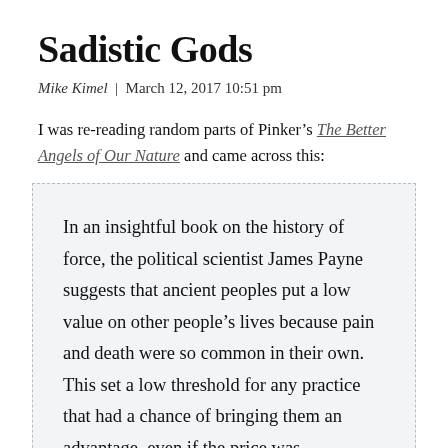Sadistic Gods
Mike Kimel  |  March 12, 2017 10:51 pm
I was re-reading random parts of Pinker's The Better Angels of Our Nature and came across this:
In an insightful book on the history of force, the political scientist James Payne suggests that ancient peoples put a low value on other people's lives because pain and death were so common in their own. This set a low threshold for any practice that had a chance of bringing them an advantage, even if the price was…